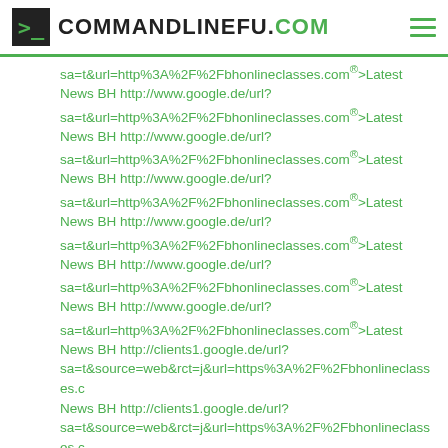COMMANDLINEFU.COM
sa=t&url=http%3A%2F%2Fbhonlineclasses.com">Latest News BH http://www.google.de/url?sa=t&url=http%3A%2F%2Fbhonlineclasses.com">Latest News BH http://www.google.de/url?sa=t&url=http%3A%2F%2Fbhonlineclasses.com">Latest News BH http://www.google.de/url?sa=t&url=http%3A%2F%2Fbhonlineclasses.com">Latest News BH http://www.google.de/url?sa=t&url=http%3A%2F%2Fbhonlineclasses.com">Latest News BH http://www.google.de/url?sa=t&url=http%3A%2F%2Fbhonlineclasses.com">Latest News BH http://www.google.de/url?sa=t&url=http%3A%2F%2Fbhonlineclasses.com">Latest News BH http://clients1.google.de/url?sa=t&source=web&rct=j&url=https%3A%2F%2Fbhonlineclasses.c News BH http://clients1.google.de/url?sa=t&source=web&rct=j&url=https%3A%2F%2Fbhonlineclasses.c News BH http://clients1.google.de/url?sa=t&source=web&rct=j&url=https%3A%2F%2Fbhonlineclasses.c News BH http://clients1.google.de/url?sa=t&source=web&rct=j&url=http%3A%2F%2Fbhonlineclasses.co